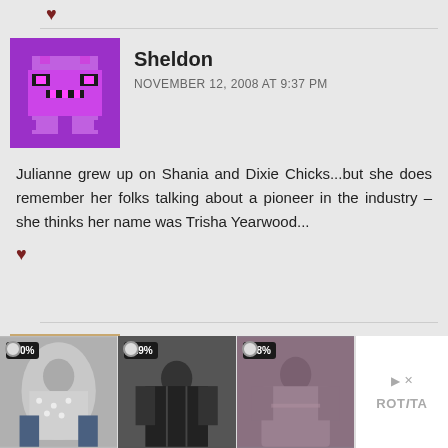[Figure (illustration): Small dark red heart icon]
Sheldon
NOVEMBER 12, 2008 AT 9:37 PM
Julianne grew up on Shania and Dixie Chicks...but she does remember her folks talking about a pioneer in the industry – she thinks her name was Trisha Yearwood...
[Figure (illustration): Small dark red heart/like icon]
Blake Boldt
[Figure (photo): Advertisement banner showing three women's clothing items with discount labels -30%, -29%, -28%, and ROTITA brand logo]